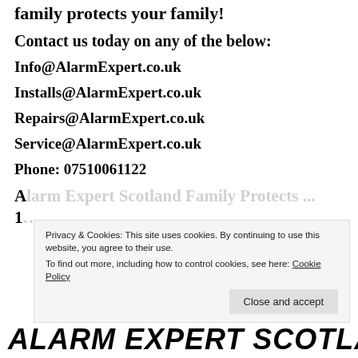family protects your family!
Contact us today on any of the below:
Info@AlarmExpert.co.uk
Installs@AlarmExpert.co.uk
Repairs@AlarmExpert.co.uk
Service@AlarmExpert.co.uk
Phone: 07510061122
A… (partially obscured text)
1… (partially obscured)
Privacy & Cookies: This site uses cookies. By continuing to use this website, you agree to their use. To find out more, including how to control cookies, see here: Cookie Policy
Close and accept
ALARM EXPERT SCOTLAND OUR